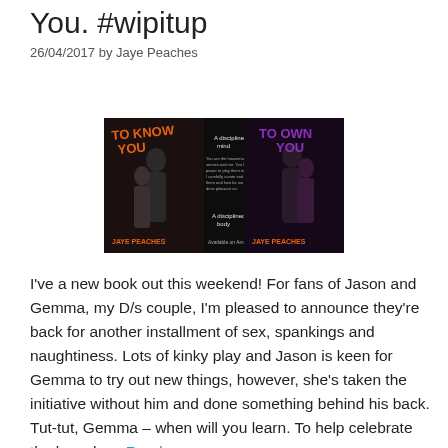You. #wipitup
26/04/2017 by Jaye Peaches
[Figure (photo): Book cover promotional image for 'To Know You' and 'To Own You' by Jaye Peaches, showing couples against dark backgrounds with orange and purple title text.]
I've a new book out this weekend!  For fans of Jason and Gemma, my D/s couple, I'm pleased to announce they're back for another installment of sex, spankings and naughtiness. Lots of kinky play and Jason is keen for Gemma to try out new things, however, she's taken the initiative without him and done something behind his back. Tut-tut, Gemma – when will you learn. To help celebrate the launch … Read more...